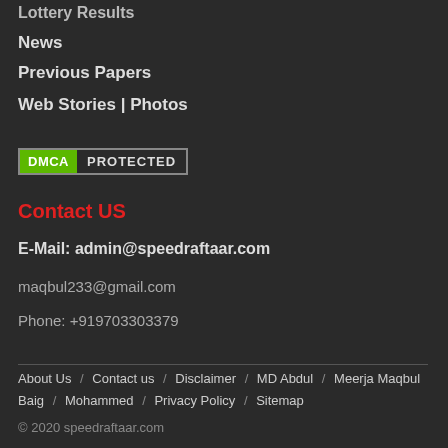Lottery Results
News
Previous Papers
Web Stories | Photos
[Figure (other): DMCA Protected badge with green DMCA label and dark PROTECTED text]
Contact US
E-Mail: admin@speedraftaar.com
maqbul233@gmail.com
Phone: +919703303379
About Us / Contact us / Disclaimer / MD Abdul / Meerja Maqbul Baig / Mohammed / Privacy Policy / Sitemap
© 2020 speedraftaar.com